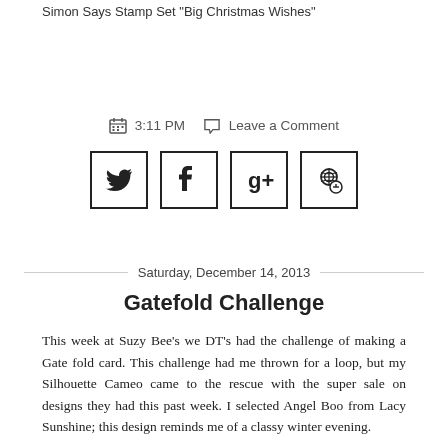Simon Says Stamp Set "Big Christmas Wishes"
3:11 PM   Leave a Comment
[Figure (infographic): Social sharing buttons: Twitter, Facebook, Google+, Pinterest — each in a square border]
Saturday, December 14, 2013
Gatefold Challenge
This week at Suzy Bee's we DT's had the challenge of making a Gate fold card. This challenge had me thrown for a loop, but my Silhouette Cameo came to the rescue with the super sale on designs they had this past week. I selected Angel Boo from Lacy Sunshine; this design reminds me of a classy winter evening.